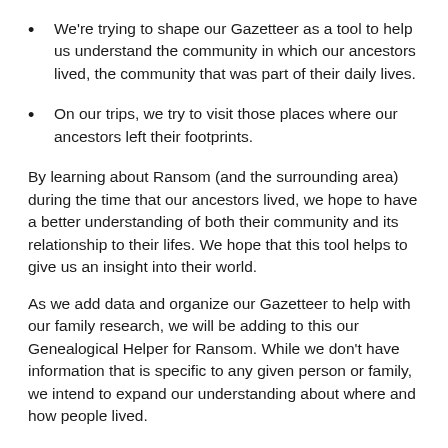We're trying to shape our Gazetteer as a tool to help us understand the community in which our ancestors lived, the community that was part of their daily lives.
On our trips, we try to visit those places where our ancestors left their footprints.
By learning about Ransom (and the surrounding area) during the time that our ancestors lived, we hope to have a better understanding of both their community and its relationship to their lifes. We hope that this tool helps to give us an insight into their world.
As we add data and organize our Gazetteer to help with our family research, we will be adding to this our Genealogical Helper for Ransom. While we don't have information that is specific to any given person or family, we intend to expand our understanding about where and how people lived.